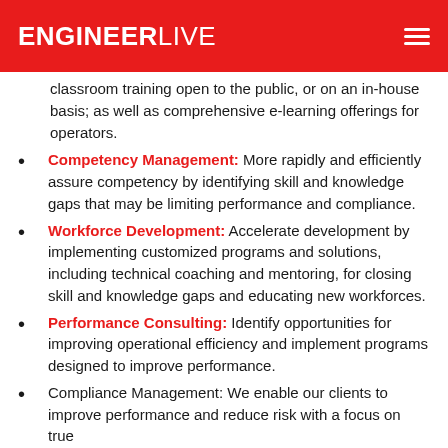ENGINEERLIVE
classroom training open to the public, or on an in-house basis; as well as comprehensive e-learning offerings for operators.
Competency Management: More rapidly and efficiently assure competency by identifying skill and knowledge gaps that may be limiting performance and compliance.
Workforce Development: Accelerate development by implementing customized programs and solutions, including technical coaching and mentoring, for closing skill and knowledge gaps and educating new workforces.
Performance Consulting: Identify opportunities for improving operational efficiency and implement programs designed to improve performance.
Compliance Management: We enable our clients to improve performance and reduce risk with a focus on true